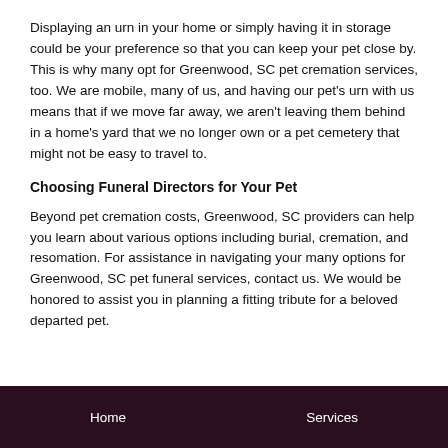Displaying an urn in your home or simply having it in storage could be your preference so that you can keep your pet close by. This is why many opt for Greenwood, SC pet cremation services, too. We are mobile, many of us, and having our pet's urn with us means that if we move far away, we aren't leaving them behind in a home's yard that we no longer own or a pet cemetery that might not be easy to travel to.
Choosing Funeral Directors for Your Pet
Beyond pet cremation costs, Greenwood, SC providers can help you learn about various options including burial, cremation, and resomation. For assistance in navigating your many options for Greenwood, SC pet funeral services, contact us. We would be honored to assist you in planning a fitting tribute for a beloved departed pet.
Home   Services